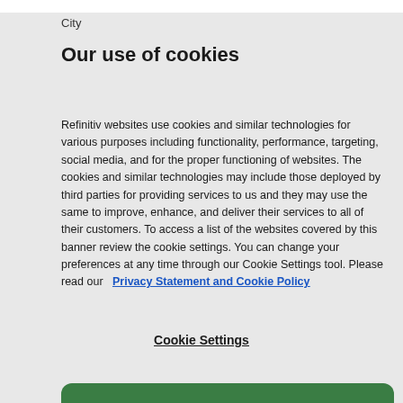City
Our use of cookies
Refinitiv websites use cookies and similar technologies for various purposes including functionality, performance, targeting, social media, and for the proper functioning of websites. The cookies and similar technologies may include those deployed by third parties for providing services to us and they may use the same to improve, enhance, and deliver their services to all of their customers. To access a list of the websites covered by this banner review the cookie settings. You can change your preferences at any time through our Cookie Settings tool. Please read our   Privacy Statement and Cookie Policy
Cookie Settings